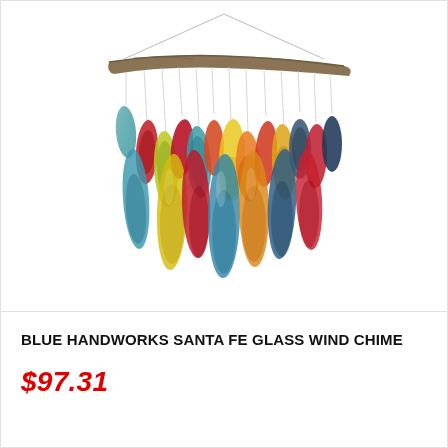[Figure (photo): A colorful glass wind chime with multiple teardrop/leaf-shaped multicolored glass pieces hanging from a curved driftwood branch, suspended by thin strings tied at the top.]
BLUE HANDWORKS SANTA FE GLASS WIND CHIME
$97.31